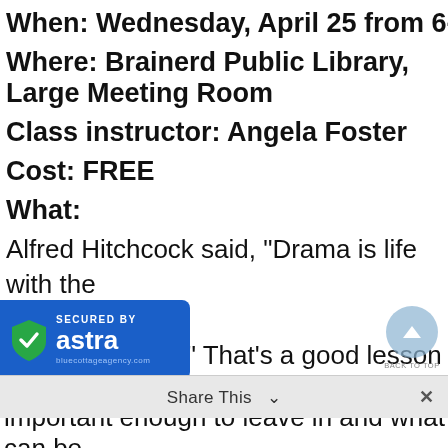When: Wednesday, April 25 from 6-8 p.m.
Where: Brainerd Public Library, Large Meeting Room
Class instructor: Angela Foster
Cost: FREE
What:
Alfred Hitchcock said, “Drama is life with the dull bits left out.” That’s a good lesson for
[Figure (logo): Secured by Astra badge - blue rectangle with green shield/checkmark and text 'SECURED BY astra']
. But how do we know what is important enough to leave in and what can be